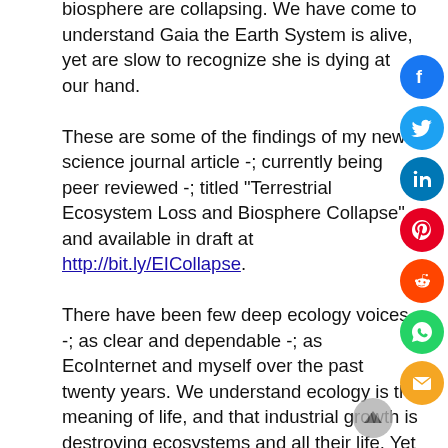biosphere are collapsing. We have come to understand Gaia the Earth System is alive, yet are slow to recognize she is dying at our hand.
These are some of the findings of my new science journal article -; currently being peer reviewed -; titled "Terrestrial Ecosystem Loss and Biosphere Collapse" and available in draft at http://bit.ly/EICollapse.
There have been few deep ecology voices -; as clear and dependable -; as EcoInternet and myself over the past twenty years. We understand ecology is the meaning of life, and that industrial growth is destroying ecosystems and all their life. Yet EcoInternet continues to barely cover basic expenses, and continually sinks further in debt, to urgently spread the message of how to sustain our one shared biosphere. Our public appeals for funding ensure our independence to speak ecological truth.
As with American revolutionaries 237 years ago today,